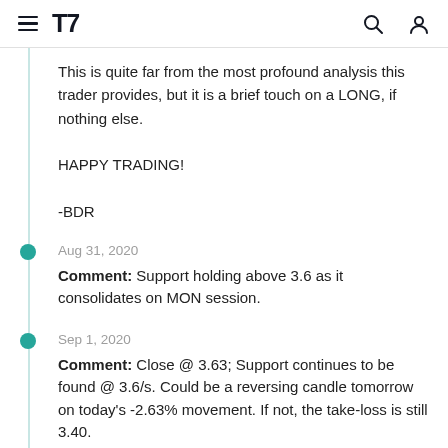TradingView navigation bar
This is quite far from the most profound analysis this trader provides, but it is a brief touch on a LONG, if nothing else.

HAPPY TRADING!

-BDR
Aug 31, 2020
Comment: Support holding above 3.6 as it consolidates on MON session.
Sep 1, 2020
Comment: Close @ 3.63; Support continues to be found @ 3.6/s. Could be a reversing candle tomorrow on today's -2.63% movement. If not, the take-loss is still 3.40.